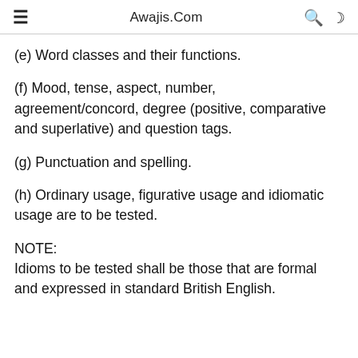☰  Awajis.Com  🔍 ☽
(e) Word classes and their functions.
(f) Mood, tense, aspect, number, agreement/concord, degree (positive, comparative and superlative) and question tags.
(g) Punctuation and spelling.
(h) Ordinary usage, figurative usage and idiomatic usage are to be tested.
NOTE:
Idioms to be tested shall be those that are formal and expressed in standard British English.